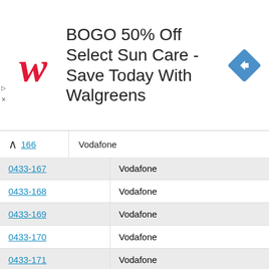[Figure (screenshot): Walgreens advertisement banner: BOGO 50% Off Select Sun Care - Save Today With Walgreens, with Walgreens logo and navigation icon]
| Number | Carrier |
| --- | --- |
| 0433-166 | Vodafone |
| 0433-167 | Vodafone |
| 0433-168 | Vodafone |
| 0433-169 | Vodafone |
| 0433-170 | Vodafone |
| 0433-171 | Vodafone |
| 0433-172 | Vodafone |
| 0433-173 | Vodafone |
| 0433-174 | Vodafone |
| 0433-175 | Vodafone |
| 0433-176 | Vodafone |
| 0433-177 | Vodafone |
| 0433-178 | Vodafone |